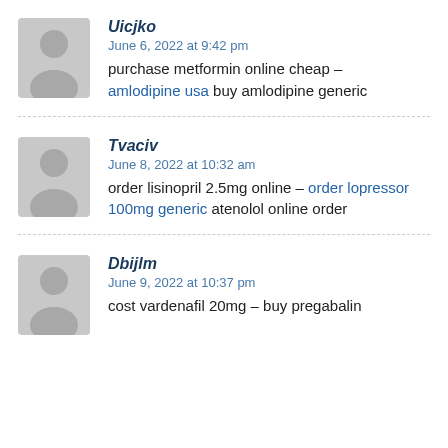Uicjko
June 6, 2022 at 9:42 pm
purchase metformin online cheap – amlodipine usa buy amlodipine generic
Tvaciv
June 8, 2022 at 10:32 am
order lisinopril 2.5mg online – order lopressor 100mg generic atenolol online order
Dbijlm
June 9, 2022 at 10:37 pm
cost vardenafil 20mg – buy pregabalin